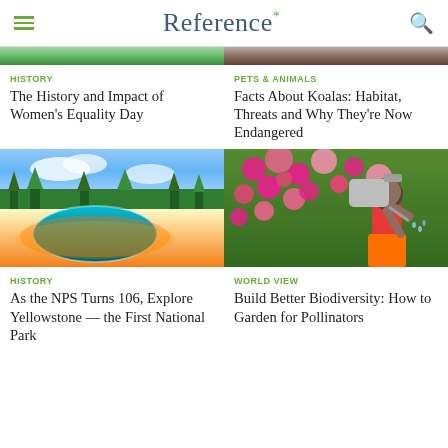Reference*
[Figure (photo): Partial top crop of green nature/grass scene]
[Figure (photo): Partial top crop of brown/orange natural scene]
HISTORY
The History and Impact of Women's Equality Day
PETS & ANIMALS
Facts About Koalas: Habitat, Threats and Why They're Now Endangered
[Figure (photo): Colorful hot spring pool at Yellowstone with green and teal water, orange mineral deposits, pine trees and blue sky]
[Figure (photo): A young girl watering pink bougainvillea flowers with a metal watering can]
HISTORY
As the NPS Turns 106, Explore Yellowstone — the First National Park
WORLD VIEW
Build Better Biodiversity: How to Garden for Pollinators